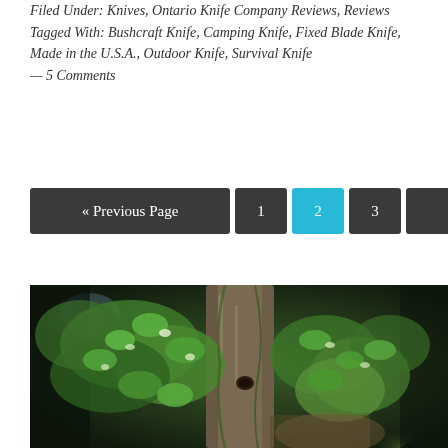Filed Under: Knives, Ontario Knife Company Reviews, Reviews
Tagged With: Bushcraft Knife, Camping Knife, Fixed Blade Knife, Made in the U.S.A., Outdoor Knife, Survival Knife
— 5 Comments
« Previous Page  1  2  3  Next Page »
[Figure (photo): A tree trunk covered in green leafy vines photographed in a forest setting with bokeh background]